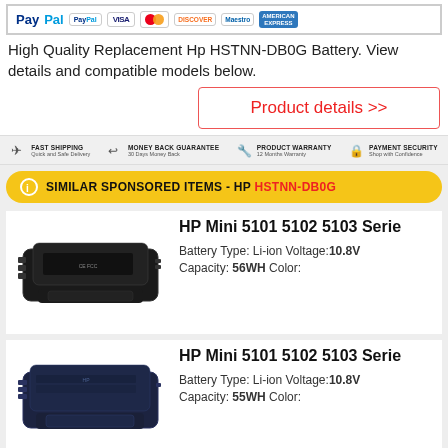[Figure (other): PayPal payment methods banner showing PayPal, Visa, MasterCard, Discover, Maestro, and American Express card logos]
High Quality Replacement Hp HSTNN-DB0G Battery. View details and compatible models below.
[Figure (other): Product details >> button with red text and border]
[Figure (infographic): Trust bar showing: Fast Shipping - Quick and Safe Delivery, Money Back Guarantee - 30 Days Money Back, Product Warranty - 12 Months Warranty, Payment Security - Shop with Confidence]
SIMILAR SPONSORED ITEMS - HP HSTNN-DB0G
[Figure (photo): Black HP laptop battery for Mini 5101 5102 5103 series]
HP Mini 5101 5102 5103 Serie
Battery Type: Li-ion Voltage:10.8V
Capacity: 56WH Color:
[Figure (photo): Dark blue/navy HP laptop battery for Mini 5101 5102 5103 series]
HP Mini 5101 5102 5103 Serie
Battery Type: Li-ion Voltage:10.8V
Capacity: 55WH Color: